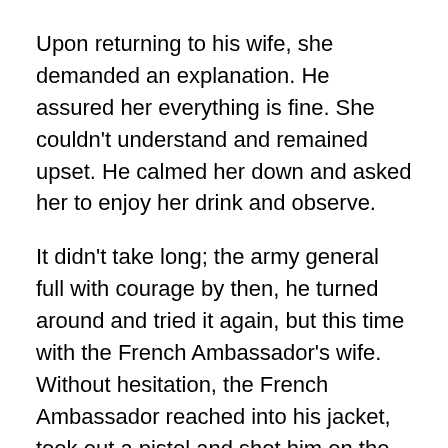Upon returning to his wife, she demanded an explanation. He assured her everything is fine. She couldn't understand and remained upset. He calmed her down and asked her to enjoy her drink and observe.
It didn't take long; the army general full with courage by then, he turned around and tried it again, but this time with the French Ambassador's wife. Without hesitation, the French Ambassador reached into his jacket, took out a pistol and shot him on the spot.
The British Ambassador turned to his wife and said her, “Do you understand now?”
I love this story. It has a Machiavellian tactic. When the generals heard, they gave me a sardonic smile stamped with a nodding and a cynical look. But, I have applied it in